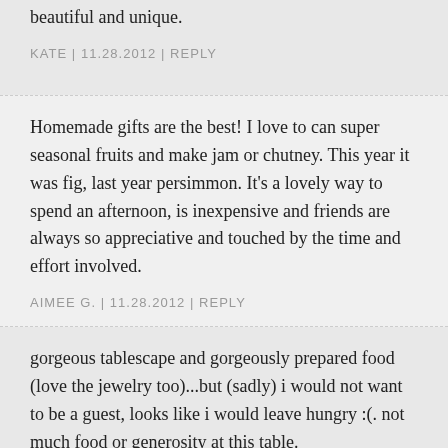beautiful and unique.
KATE  |  11.28.2012  |  REPLY
Homemade gifts are the best! I love to can super seasonal fruits and make jam or chutney. This year it was fig, last year persimmon. It's a lovely way to spend an afternoon, is inexpensive and friends are always so appreciative and touched by the time and effort involved.
AIMEE G.  |  11.28.2012  |  REPLY
gorgeous tablescape and gorgeously prepared food (love the jewelry too)...but (sadly) i would not want to be a guest, looks like i would leave hungry :(. not much food or generosity at this table.
AMES  |  11.28.2012  |  REPLY